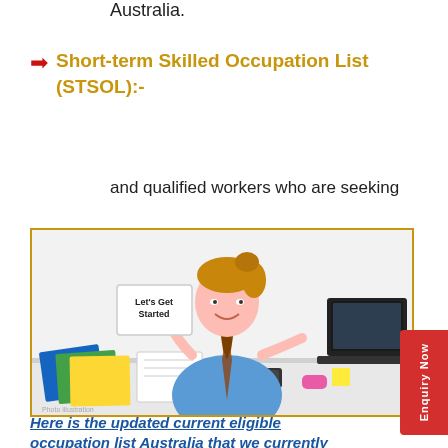Australia.
Short-term Skilled Occupation List (STSOL):-
and qualified workers who are seeking
[Figure (photo): A smiling woman sitting at a desk with a laptop, folders, glasses, phone and other items, holding a sign that reads 'Let's Get Started']
Here is the updated current eligible occupation list Australia that we currently